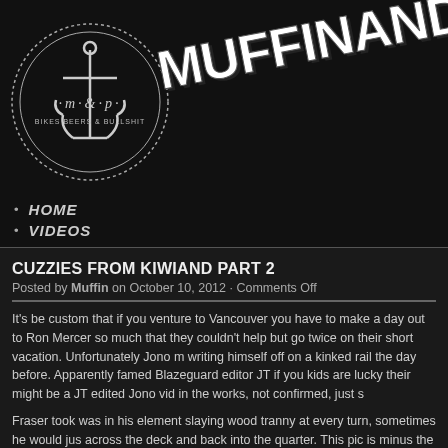[Figure (logo): m&p Bikes Beers & Bullshit circular anchor logo with dotted border]
MUFFINANDPE...
HOME
VIDEOS
CUZZIES FROM KIWIAND PART 2
Posted by Muffin on October 10, 2012 · Comments Off
It's be custom that if you venture to Vancouver you have to make a day out to Ron Mercer so much that they couldn't help but go twice on their short vacation. Unfortunately Jono m writing himself off on a kinked rail the day before. Apparently famed Blazeguard editor JT if you kids are lucky their might be a JT edited Jono vid in the works, not confirmed, just s
Fraser took was in his element slaying wood tranny at every turn, sometimes he would jus across the deck and back into the quarter. This pic is minus the nose wheelie but you get th
[Figure (photo): Outdoor photo with trees and sky, warm autumn tones]